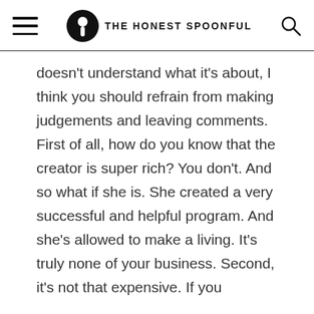THE HONEST SPOONFUL
doesn't understand what it's about, I think you should refrain from making judgements and leaving comments. First of all, how do you know that the creator is super rich? You don't. And so what if she is. She created a very successful and helpful program. And she's allowed to make a living. It's truly none of your business. Second, it's not that expensive. If you